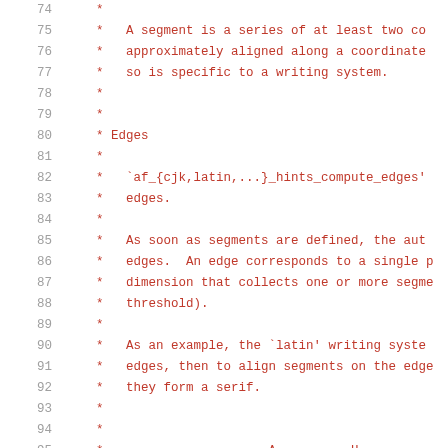74  *
75  *   A segment is a series of at least two co
76  *   approximately aligned along a coordinate
77  *   so is specific to a writing system.
78  *
79  *
80  * Edges
81  *
82  *   `af_{cjk,latin,...}_hints_compute_edges'
83  *   edges.
84  *
85  *   As soon as segments are defined, the aut
86  *   edges.  An edge corresponds to a single p
87  *   dimension that collects one or more segme
88  *   threshold).
89  *
90  *   As an example, the `latin' writing syste
91  *   edges, then to align segments on the edge
92  *   they form a serif.
93  *
94  *
95  *                      A          H